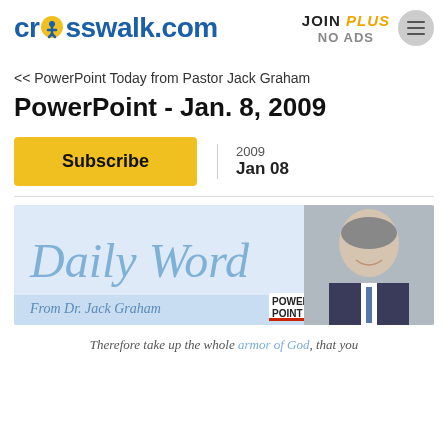crosswalk.com | JOIN PLUS NO ADS
<< PowerPoint Today from Pastor Jack Graham
PowerPoint - Jan. 8, 2009
Subscribe
2009 Jan 08
[Figure (illustration): Daily Word From Dr. Jack Graham - PowerPoint banner with a photo of Dr. Jack Graham on the right side]
Therefore take up the whole armor of God, that you